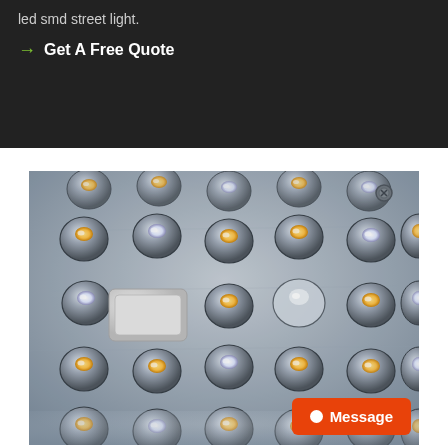led smd street light.
→ Get A Free Quote
[Figure (photo): Close-up photograph of LED SMD street light array showing multiple dome-shaped LED lens elements arranged in a grid pattern on a silver/metallic housing, with a white connector visible at lower left and a screw at upper right.]
Message